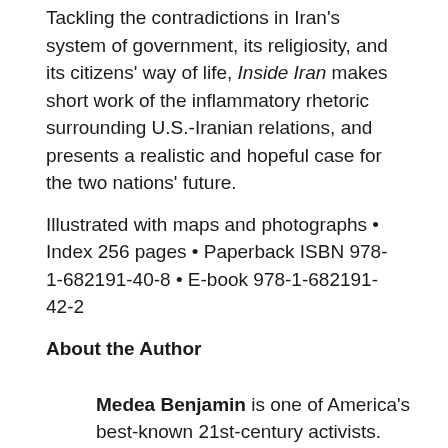Tackling the contradictions in Iran's system of government, its religiosity, and its citizens' way of life, Inside Iran makes short work of the inflammatory rhetoric surrounding U.S.-Iranian relations, and presents a realistic and hopeful case for the two nations' future.
Illustrated with maps and photographs • Index 256 pages • Paperback ISBN 978-1-682191-40-8 • E-book 978-1-682191-42-2
About the Author
Medea Benjamin is one of America's best-known 21st-century activists. Co-founder of CODEPINK and the fair trade advocacy group Global Exchange, she is the author of Drone Warfare (OR Books, 2012) and Kingdom of the Unjust: Behind the U.S.–Saudi Connection (OR Books, 2016) and has played an